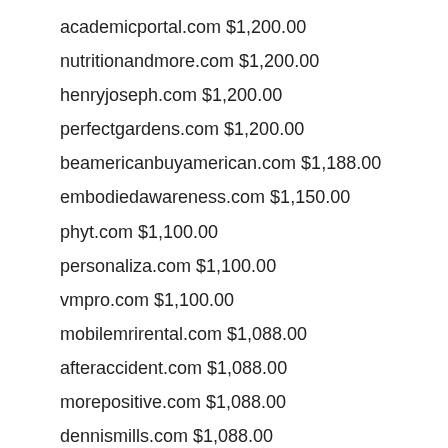academicportal.com $1,200.00
nutritionandmore.com $1,200.00
henryjoseph.com $1,200.00
perfectgardens.com $1,200.00
beamericanbuyamerican.com $1,188.00
embodiedawareness.com $1,150.00
phyt.com $1,100.00
personaliza.com $1,100.00
vmpro.com $1,100.00
mobilemrirental.com $1,088.00
afteraccident.com $1,088.00
morepositive.com $1,088.00
dennismills.com $1,088.00
beachelite.com $1,088.00
server-admin.com $1,088.00
arthritisclinic.com $1,000.00
pktechnology.com $1,000.00
bangkokhouse.com $1,000.00
ausonius.com $1,000.00